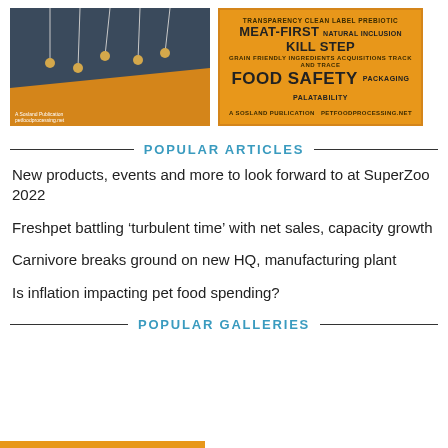[Figure (photo): Left image: abstract photo with hanging spheres on dark blue/gray background with orange triangle at bottom. Small text overlay at bottom left.]
[Figure (infographic): Right image: orange background with bold keyword text collage including TRANSPARENCY, CLEAN LABEL, PREBIOTIC, MEAT-FIRST, NATURAL, KILL STEP, GRAIN FRIENDLY INGREDIENTS, ACQUISITIONS, TRACK AND TRACE, FOOD SAFETY, PACKAGING, PALATABILITY, A SOSLAND PUBLICATION, PETFOODPROCESSING.NET]
POPULAR ARTICLES
New products, events and more to look forward to at SuperZoo 2022
Freshpet battling ‘turbulent time’ with net sales, capacity growth
Carnivore breaks ground on new HQ, manufacturing plant
Is inflation impacting pet food spending?
POPULAR GALLERIES